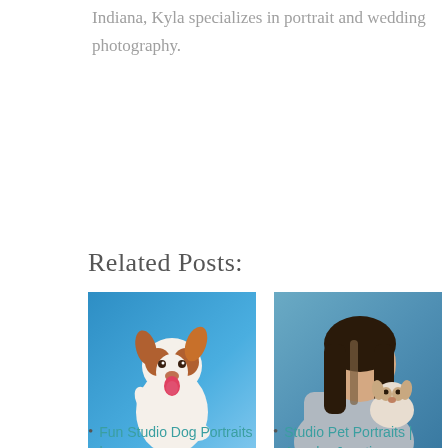Indiana, Kyla specializes in portrait and wedding photography.
Related Posts:
[Figure (photo): A happy brown and white Australian Shepherd dog jumping up against a blue studio background]
[Figure (photo): A young woman with dark hair leaning in to kiss a small fluffy dog against a blue/grey studio background]
Fun Studio Dog Portraits |
Studio Pet Portraits | Apache Junction